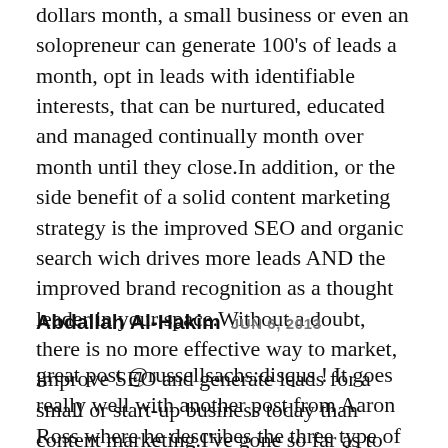dollars month, a small business or even an solopreneur can generate 100's of leads a month, opt in leads with identifiable interests, that can be nurtured, educated and managed continually month over month until they close.In addition, or the side benefit of a solid content marketing strategy is the improved SEO and organic search wich drives more leads AND the improved brand recognition as a thought leader in your space.Without a doubt, there is no more effective way to market, improve SEO and generate leads for a small or start-up business today than content marketing.I've gone so far as to say it is the one of the 3 MOST CRITICAL sales strategies for 2013.
Abdallah Al-Hakim JUN 6, 2013
great post @russellsachs:disqus ! It goes really well with another post from Aaron Ross where he describes the three type of leads as seeds (word of mouth), spears (outbound sales) and nets (marketing). It is a long post